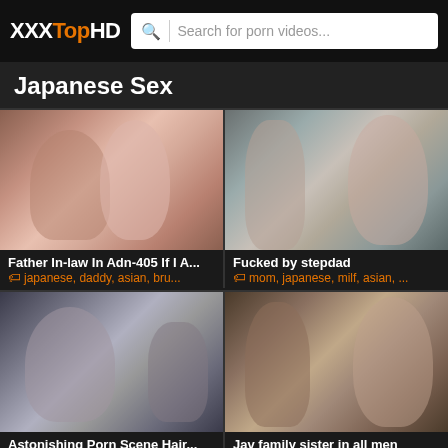XXXTopHD — Search for porn videos...
Japanese Sex
[Figure (photo): Video thumbnail showing two people in intimate scene]
Father In-law In Adn-405 If I A...
japanese, daddy, asian, bru...
[Figure (photo): Video thumbnail showing woman in intimate scene]
Fucked by stepdad
mom, japanese, milf, asian, ...
[Figure (photo): Video thumbnail showing two people in intimate scene]
Astonishing Porn Scene Hair...
japanese, asian, big tits, am...
[Figure (photo): Video thumbnail showing two people kissing]
Jav family sister in all men
japanese, sister, family, asia...